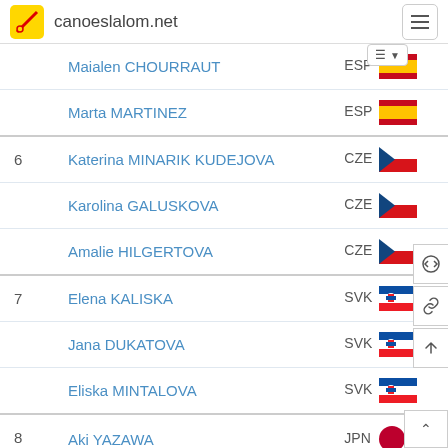canoeslalom.net
| Rank | Name | Country |
| --- | --- | --- |
|  | Maialen CHOURRAUT | ESP |
|  | Marta MARTINEZ | ESP |
| 6 | Katerina MINARIK KUDEJOVA | CZE |
|  | Karolina GALUSKOVA | CZE |
|  | Amalie HILGERTOVA | CZE |
| 7 | Elena KALISKA | SVK |
|  | Jana DUKATOVA | SVK |
|  | Eliska MINTALOVA | SVK |
| 8 | Aki YAZAWA | JPN |
|  | Yuriko TAKESHITA | JPN |